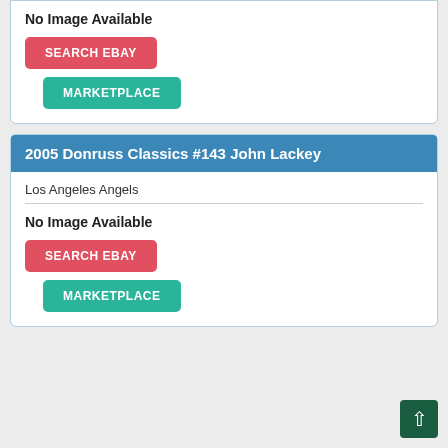No Image Available
SEARCH EBAY
MARKETPLACE
2005 Donruss Classics #143 John Lackey
Los Angeles Angels
No Image Available
SEARCH EBAY
MARKETPLACE